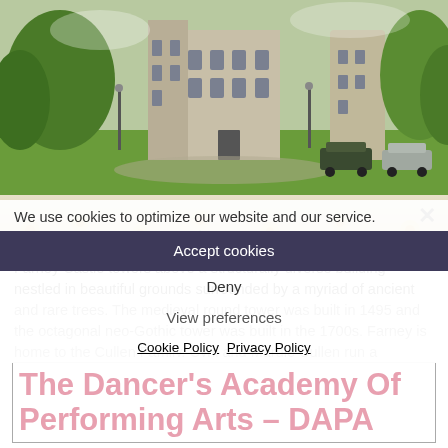[Figure (photo): Photograph of a large Gothic-style castle building nestled among trees with green lawn in foreground and cars parked outside.]
[Figure (photo): Decorative strip of daffodil flowers, faded/washed out, with a close (x) button in top right.]
Farney Castle towers above a structurally diverse building nestled in beautiful grounds surrounded by a myriad of ancient and rare trees. The medieval round tower was built in 1495 and the octagonal neo-Gothic tower was built in the 1700s. Farney is home to the Cullen Family. Cyril and Margie Cullen run a knitwear and porcelain [...]
We use cookies to optimize our website and our service.
Accept cookies
Deny
View preferences
Cookie Policy   Privacy Policy
The Dancer's Academy Of Performing Arts – DAPA